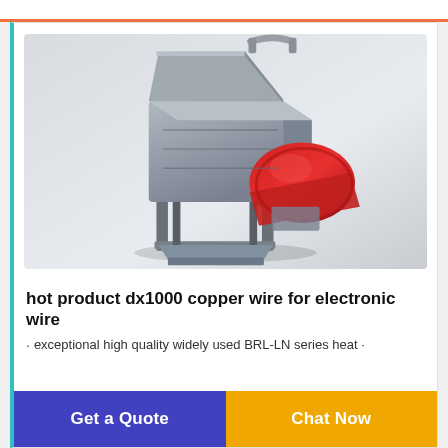[Figure (photo): 3D render of a copper wire granulator/shredder machine (DX1000 model). The machine has a grey metal body with a hopper on top, a large red component in the middle-right, and stands on metal legs. It has a handle on top.]
hot product dx1000 copper wire for electronic wire
· exceptional high quality widely used BRL-LN series heat ·
Get a Quote
Chat Now